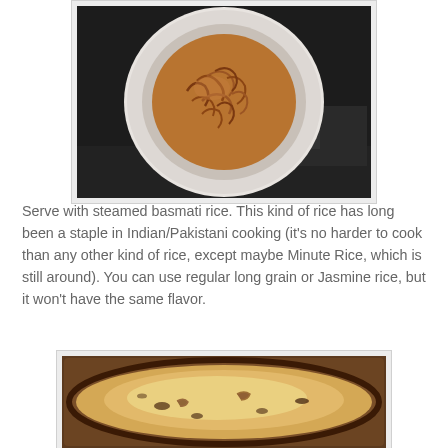[Figure (photo): Overhead view of caramelized onions in a white round pan/pot on a gas stove, showing golden-brown curly onion strands]
Serve with steamed basmati rice. This kind of rice has long been a staple in Indian/Pakistani cooking (it's no harder to cook than any other kind of rice, except maybe Minute Rice, which is still around). You can use regular long grain or Jasmine rice, but it won't have the same flavor.
[Figure (photo): Top-down view of a creamy yellowish curry or stew with dark pieces in a Dutch oven or heavy pot, showing cooked dish with some caramelized bits]